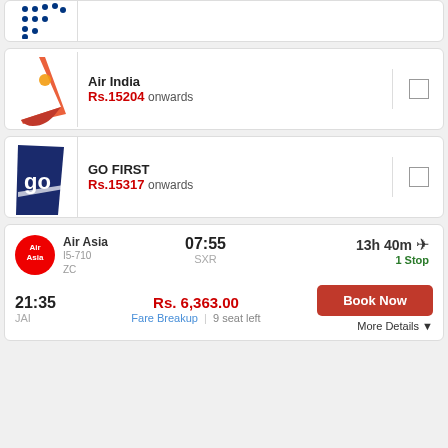[Figure (logo): Partial airline logo with dots pattern (IndiGo), cropped at top]
Air India
Rs.15204 onwards
GO FIRST
Rs.15317 onwards
Air Asia I5-710 ZC  07:55 SXR  13h 40m 1 Stop
21:35 JAI  Rs. 6,363.00  Fare Breakup | 9 seat left  Book Now  More Details